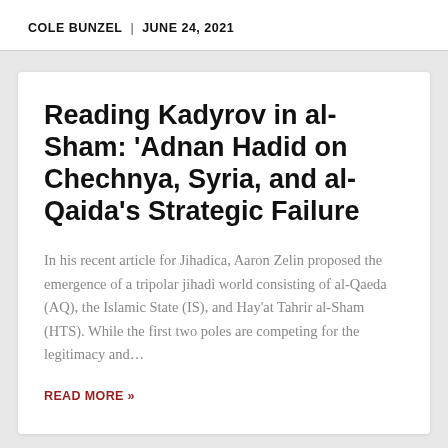COLE BUNZEL  |  JUNE 24, 2021
Reading Kadyrov in al-Sham: 'Adnan Hadid on Chechnya, Syria, and al-Qaida's Strategic Failure
In his recent article for Jihadica, Aaron Zelin proposed the emergence of a tripolar jihadi world consisting of al-Qaeda (AQ), the Islamic State (IS), and Hay'at Tahrir al-Sham (HTS). While the first two poles are competing for the legitimacy and…
READ MORE »